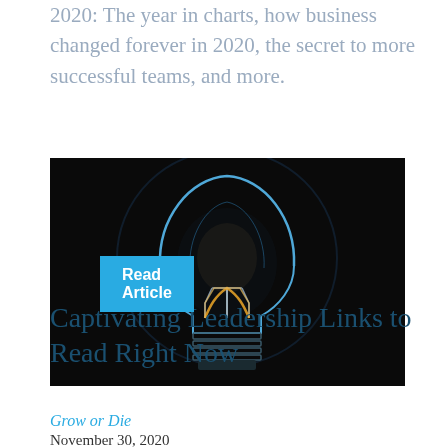2020: The year in charts, how business changed forever in 2020, the secret to more successful teams, and more.
Read Article
[Figure (photo): A glowing light bulb on a dark/black background with blue lighting around the bulb outline and an orange/yellow filament visible inside]
Captivating Leadership Links to Read Right Now
Grow or Die
November 30, 2020